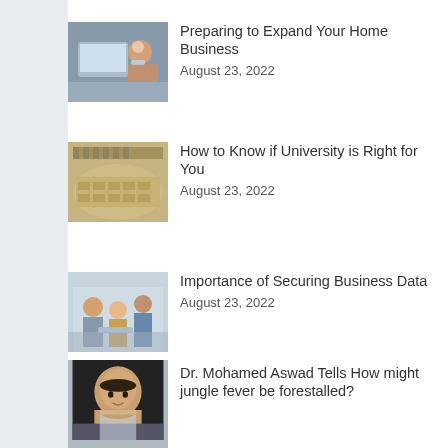[Figure (photo): Woman sitting with laptop and coffee cup, home office setting]
Preparing to Expand Your Home Business
August 23, 2022
[Figure (photo): Aerial view of university library hall with students]
How to Know if University is Right for You
August 23, 2022
[Figure (photo): Group of people working on laptops in an office]
Importance of Securing Business Data
August 23, 2022
[Figure (photo): Portrait of Dr. Mohamed Aswad, a man with dark hair and beard]
Dr. Mohamed Aswad Tells How might jungle fever be forestalled?